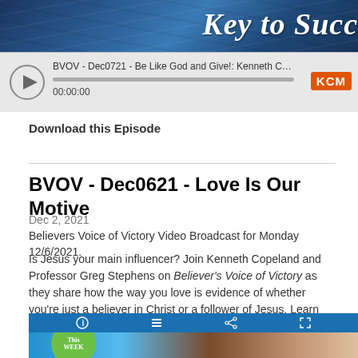[Figure (screenshot): Audio player widget with blue marble background showing 'Key to Succ...' text and KCM branding. Track: 'BVOV - Dec0721 - Be Like God and Give!: Kenneth Copela...' at 00:00:00]
Download this Episode
BVOV - Dec0621 - Love Is Our Motive
Dec 2, 2021
Believers Voice of Victory Video Broadcast for Monday 12/6/2021.
Is Jesus your main influencer? Join Kenneth Copeland and Professor Greg Stephens on Believer's Voice of Victory as they share how the way you love is evidence of whether you're just a believer in Christ or a follower of Jesus. Learn how love is our motive in every thought and word if we want to be like Him!
[Figure (screenshot): Bottom portion of a video/media player interface with blue toolbar icons (info, list, share, fullscreen) and image showing a circular green badge with 'This WEEK' text, and people in background]